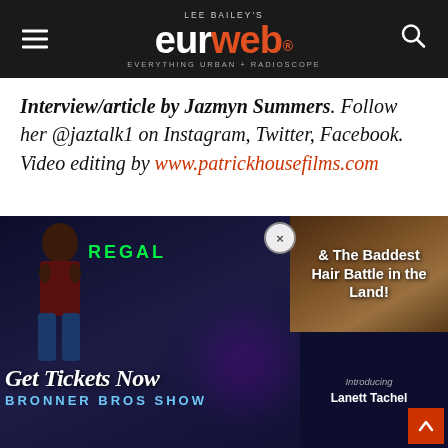Lee Bailey's eurweb.com — Everything Urban + Radioscope
Interview/article by Jazmyn Summers. Follow her @jaztalk1 on Instagram, Twitter, Facebook. Video editing by www.patrickhousefilms.com
[Figure (photo): Advertisement/promotional image showing two video thumbnails side by side. Left thumbnail: a woman seated posing with 'REGAL' text in green, 'Get Tickets Now' script text and 'BRONNER BROS SHOW' at bottom in blue. Right thumbnail (top): close-up of hair styling with text '& The Baddest Hair Battle in the Land!'. Right thumbnail (bottom): dark blue background with 'Introducing Lanett Tachel' text. Close button (X) visible. Orange scroll-to-top arrow button at bottom right.]